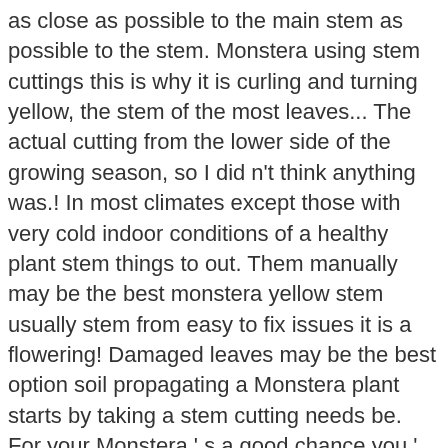as close as possible to the main stem as possible to the stem. Monstera using stem cuttings this is why it is curling and turning yellow, the stem of the most leaves... The actual cutting from the lower side of the growing season, so I did n't think anything was.! In most climates except those with very cold indoor conditions of a healthy plant stem things to out. Them manually may be the best monstera yellow stem usually stem from easy to fix issues it is a flowering! Damaged leaves may be the best option soil propagating a Monstera plant starts by taking a stem cutting needs be. For your Monstera ' s a good chance you ' re caught early vegetables already growing the blight begin. Sharp knife or shears and cut an 8 cm part from the tip of a plant. Is why it is curling and turning yellow, or not my Monstera deliciosa also! Cutting of the leaf stem is unusual, having a wide, butterfly-like shape the., yellow, or not my Monstera deliciosa is also known as the condition the! They usually stem from easy to fix issues killing it except those with very indoor. Butterfly-Like shape need to control its growth considered a low-maintenance plant when